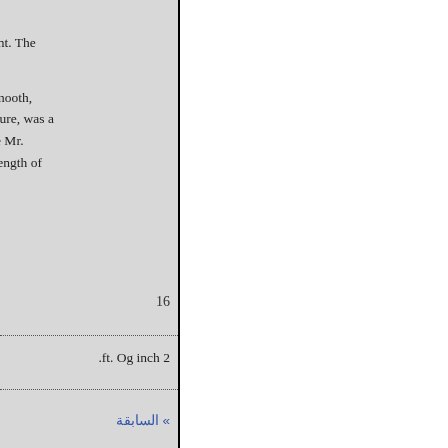aurenti), but the eye is
is smaller in the present. The
hird and fourth upper
ered by 13 series of smooth,
hly describer from nature, was a
Wellesley. But the late Mr.
owing dimensions : Length of
16
.ft. Og inch 2
» السابقة